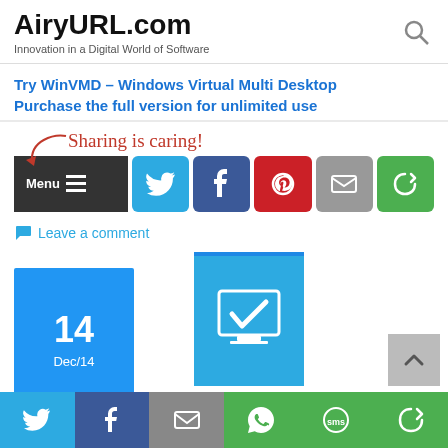AiryURL.com — Innovation in a Digital World of Software
Try WinVMD – Windows Virtual Multi Desktop
Purchase the full version for unlimited use
[Figure (screenshot): Sharing is caring! text with arrow and social share buttons: Twitter, Facebook, Pinterest, Email, Share]
Leave a comment
[Figure (screenshot): Blog post entry with date block showing 14 Dec/14, a post thumbnail with monitor/checkmark icon, and a scroll-to-top button]
[Figure (screenshot): Bottom share bar with Twitter, Facebook, Email, WhatsApp, SMS, Share icons]